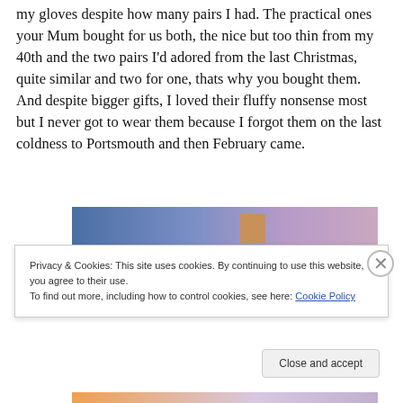my gloves despite how many pairs I had. The practical ones your Mum bought for us both, the nice but too thin from my 40th and the two pairs I'd adored from the last Christmas, quite similar and two for one, thats why you bought them. And despite bigger gifts, I loved their fluffy nonsense most but I never got to wear them because I forgot them on the last coldness to Portsmouth and then February came.
[Figure (photo): Partial view of a decorative image with a blue-to-purple gradient background and a small brown/tan box shape in the upper center area. The bottom shows a partial orange and lavender strip.]
Privacy & Cookies: This site uses cookies. By continuing to use this website, you agree to their use.
To find out more, including how to control cookies, see here: Cookie Policy
Close and accept